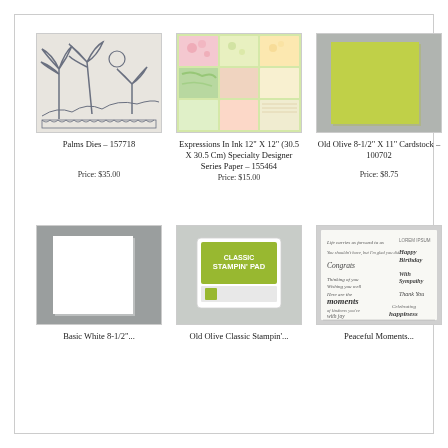[Figure (photo): Palms Dies product image - metal die cuts showing palm trees and tropical scene]
Palms Dies – 157718
Price: $35.00
[Figure (photo): Expressions In Ink 12x12 specialty designer series paper with floral and tropical patterns in green, yellow, and pink]
Expressions In Ink 12" X 12" (30.5 X 30.5 Cm) Specialty Designer Series Paper – 155464
Price: $15.00
[Figure (photo): Old Olive cardstock sheet in lime/olive green color]
Old Olive 8-1/2" X 11" Cardstock – 100702
Price: $8.75
[Figure (photo): Basic White cardstock sheet on gray background]
Basic White 8-1/2"...
[Figure (photo): Old Olive Classic Stampin' Pad ink pad in olive green color]
Old Olive Classic Stampin'...
[Figure (photo): Peaceful Moments stamp set showing various sentiment texts]
Peaceful Moments...